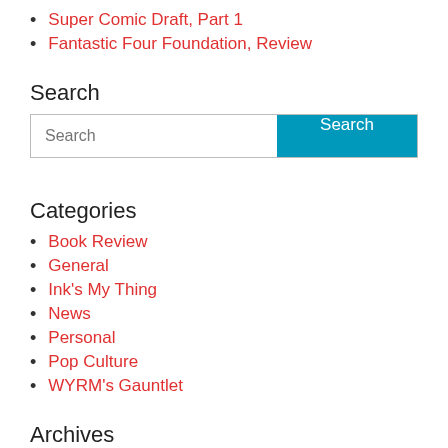Super Comic Draft, Part 1
Fantastic Four Foundation, Review
Search
Categories
Book Review
General
Ink's My Thing
News
Personal
Pop Culture
WYRM's Gauntlet
Archives
August 2016 (2)